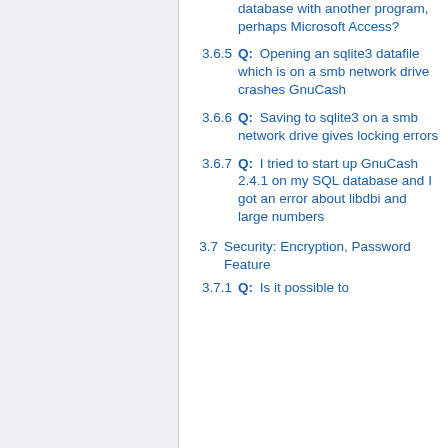3.6.4 Q: Can I open my GnuCash SQL database with another program, perhaps Microsoft Access?
3.6.5 Q: Opening an sqlite3 datafile which is on a smb network drive crashes GnuCash
3.6.6 Q: Saving to sqlite3 on a smb network drive gives locking errors
3.6.7 Q: I tried to start up GnuCash 2.4.1 on my SQL database and I got an error about libdbi and large numbers
3.7 Security: Encryption, Password Feature
3.7.1 Q: Is it possible to